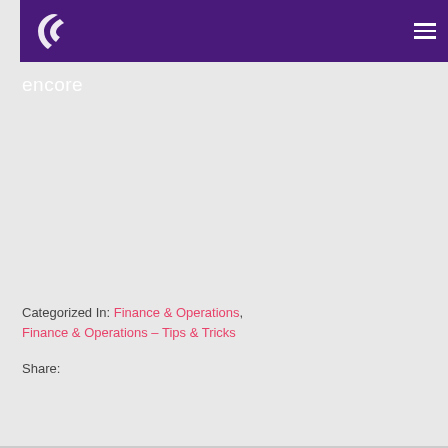[Figure (logo): Encore company logo with white icon and 'encore' text on purple header bar]
Categorized In: Finance & Operations, Finance & Operations – Tips & Tricks
Share: